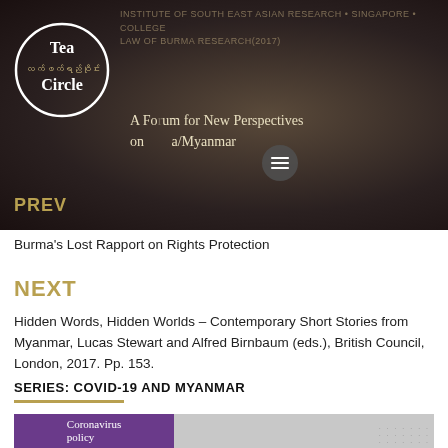[Figure (screenshot): Tea Circle website header banner with logo, forum tagline, and navigation menu icon on dark background]
Burma's Lost Rapport on Rights Protection
NEXT
Hidden Words, Hidden Worlds – Contemporary Short Stories from Myanmar, Lucas Stewart and Alfred Birnbaum (eds.), British Council, London, 2017. Pp. 153.
SERIES: COVID-19 AND MYANMAR
[Figure (screenshot): Bottom card showing Coronavirus policy book cover with purple section and gray world map background]